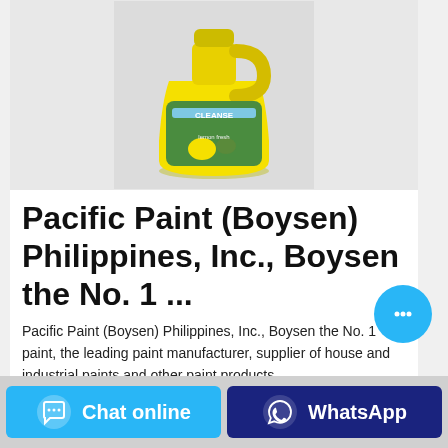[Figure (photo): Yellow laundry detergent/cleaner bottle with green label reading 'CLEANSE', lemon-scented product, on grey background]
Pacific Paint (Boysen) Philippines, Inc., Boysen the No. 1 ...
Pacific Paint (Boysen) Philippines, Inc., Boysen the No. 1 paint, the leading paint manufacturer, supplier of house and industrial paints and other paint products